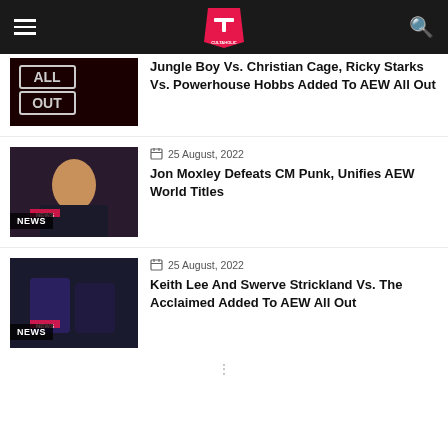Cultaholic
Jungle Boy Vs. Christian Cage, Ricky Starks Vs. Powerhouse Hobbs Added To AEW All Out
25 August, 2022
Jon Moxley Defeats CM Punk, Unifies AEW World Titles
25 August, 2022
Keith Lee And Swerve Strickland Vs. The Acclaimed Added To AEW All Out